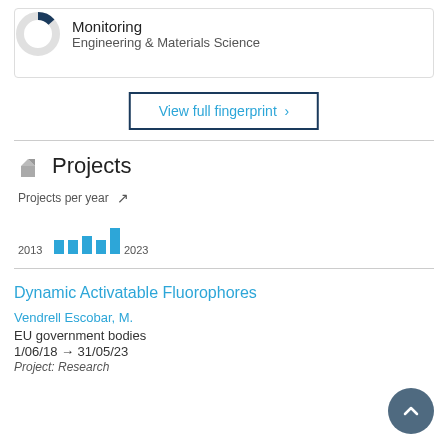[Figure (donut-chart): Small donut chart with dark blue and light gray segments representing 'Monitoring' topic proportion]
Monitoring
Engineering & Materials Science
View full fingerprint ›
Projects
[Figure (bar-chart): Projects per year]
2013
2023
Dynamic Activatable Fluorophores
Vendrell Escobar, M.
EU government bodies
1/06/18 → 31/05/23
Project: Research